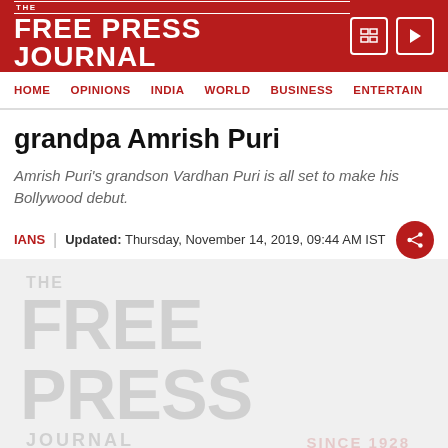THE FREE PRESS JOURNAL
HOME | OPINIONS | INDIA | WORLD | BUSINESS | ENTERTAIN
grandpa Amrish Puri
Amrish Puri's grandson Vardhan Puri is all set to make his Bollywood debut.
IANS | Updated: Thursday, November 14, 2019, 09:44 AM IST
[Figure (logo): The Free Press Journal watermark logo in light gray]